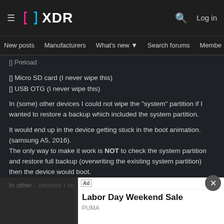XDA — New posts | Manufacturers | What's new | Search forums | Members
[] Preload
[] Micro SD card (I never wipe this)
[] USB OTG (I never wipe this)
In (some) other devices I could not wipe the "system" partition if I wanted to restore a backup which included the system partition.
It would end up in the device getting stuck in the boot animation. (samsung A5, 2016).
The only way to make it work is NOT to check the system partition and restore full backup (overwriting the existing system partition)
then the device would boot.
[Figure (screenshot): Advertisement overlay: Labor Day Weekend Sale by PUMA with Shop Now button]